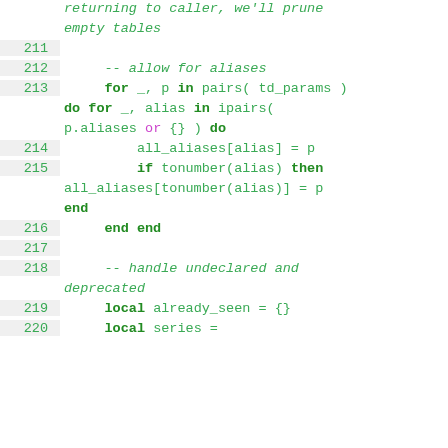returning to caller, we'll prune empty tables
211
212     -- allow for aliases
213     for _, p in pairs( td_params ) do for _, alias in ipairs( p.aliases or {} ) do
214         all_aliases[alias] = p
215         if tonumber(alias) then all_aliases[tonumber(alias)] = p end
216     end end
217
218     -- handle undeclared and deprecated
219     local already_seen = {}
220     local series =